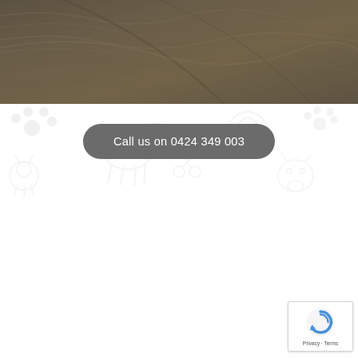[Figure (photo): Close-up photo of dark olive/khaki textured fabric or fleece material with wrinkle/fold details, occupying the top portion of the page]
[Figure (illustration): Light watermark-style background pattern of pet/animal related icons (paw prints, animals, etc.) on white background]
Call us on 0424 349 003
[Figure (logo): Google reCAPTCHA badge in bottom-right corner showing reCAPTCHA icon with Privacy and Terms links]